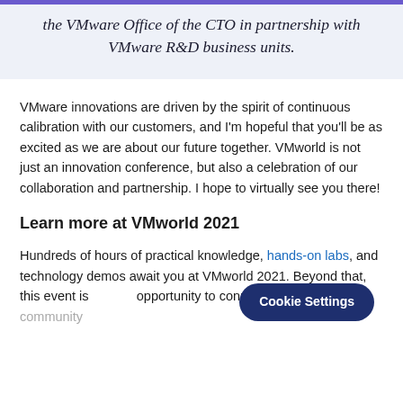the VMware Office of the CTO in partnership with VMware R&D business units.
VMware innovations are driven by the spirit of continuous calibration with our customers, and I'm hopeful that you'll be as excited as we are about our future together. VMworld is not just an innovation conference, but also a celebration of our collaboration and partnership. I hope to virtually see you there!
Learn more at VMworld 2021
Hundreds of hours of practical knowledge, hands-on labs, and technology demos await you at VMworld 2021. Beyond that, this event is opportunity to connect with the